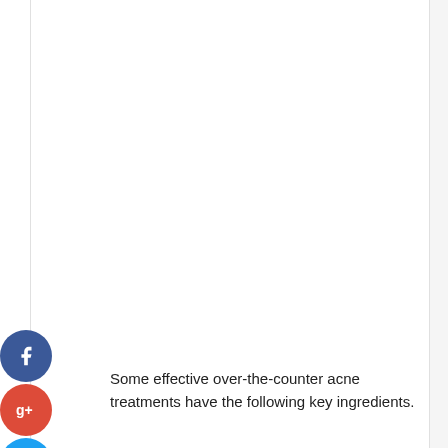[Figure (infographic): Social media share buttons (Facebook, Google+, Twitter, and More) displayed as circular icons on the left side of the page]
Some effective over-the-counter acne treatments have the following key ingredients.